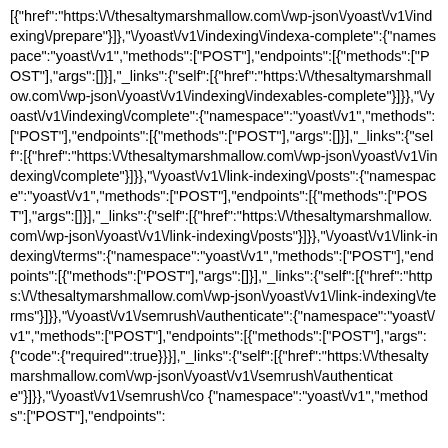[{"href":"https:\/\/thesaltymarshmallow.com\/wp-json\/yoast\/v1\/indexing\/prepare"}]},"\/yoast\/v1\/indexing\/indexables-complete":{"namespace":"yoast\/v1","methods":["POST"],"endpoints":[{"methods":["POST"],"args":[]}],"_links":{"self":[{"href":"https:\/\/thesaltymarshmallow.com\/wp-json\/yoast\/v1\/indexing\/indexables-complete"}]}},"\/yoast\/v1\/indexing\/complete":{"namespace":"yoast\/v1","methods":["POST"],"endpoints":[{"methods":["POST"],"args":[]}],"_links":{"self":[{"href":"https:\/\/thesaltymarshmallow.com\/wp-json\/yoast\/v1\/indexing\/complete"}]}},"\/yoast\/v1\/link-indexing\/posts":{"namespace":"yoast\/v1","methods":["POST"],"endpoints":[{"methods":["POST"],"args":[]}],"_links":{"self":[{"href":"https:\/\/thesaltymarshmallow.com\/wp-json\/yoast\/v1\/link-indexing\/posts"}]}},"\/yoast\/v1\/link-indexing\/terms":{"namespace":"yoast\/v1","methods":["POST"],"endpoints":[{"methods":["POST"],"args":[]}],"_links":{"self":[{"href":"https:\/\/thesaltymarshmallow.com\/wp-json\/yoast\/v1\/link-indexing\/terms"}]}},"\/yoast\/v1\/semrush\/authenticate":{"namespace":"yoast\/v1","methods":["POST"],"endpoints":[{"methods":["POST"],"args":{"code":{"required":true}}}],"_links":{"self":[{"href":"https:\/\/thesaltymarshmallow.com\/wp-json\/yoast\/v1\/semrush\/authenticate"}]}},"\/yoast\/v1\/semrush\/co {"namespace":"yoast\/v1","methods":["POST"],"endpoints":